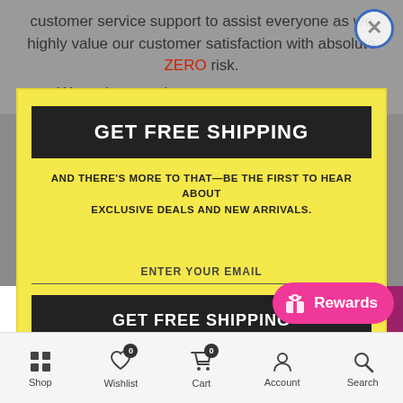customer service support to assist everyone as we highly value our customer satisfaction with absolute ZERO risk.
We make sure that every customer
[Figure (screenshot): E-commerce popup modal with yellow background offering free shipping. Contains 'GET FREE SHIPPING' header in black bar, subtext about exclusive deals, email input field, and 'GET FREE SHIPPING' button.]
Powered by omnisend
— 1 + ADD TO CART
Shop  Wishlist  Cart  Account  Search
Rewards